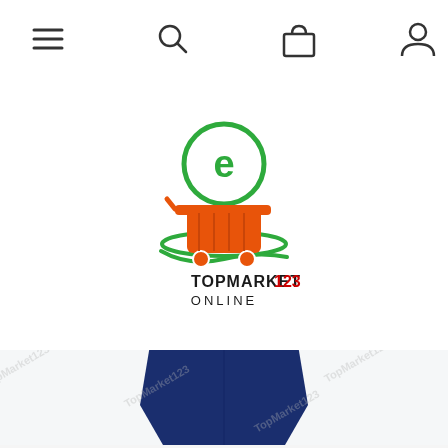[Figure (screenshot): E-commerce website navigation bar with hamburger menu, search, cart, and account icons]
[Figure (logo): TopMarket123 Online logo — green circular e-icon above an orange shopping cart with green swoosh, text reads TOPMARKET 123 ONLINE]
[Figure (photo): Navy blue off-shoulder bodycon midi dress with white waistband, shown on white background with diagonal TopMarket123 watermarks]